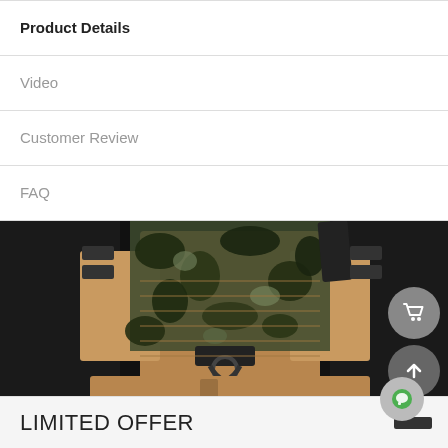Product Details
Video
Customer Review
FAQ
[Figure (photo): Close-up photo of a person wearing a tactical vest/plate carrier in camouflage pattern (dark green/black multicam) with tan/coyote brown MOLLE panels and black hardware clips and buckles.]
LIMITED OFFER